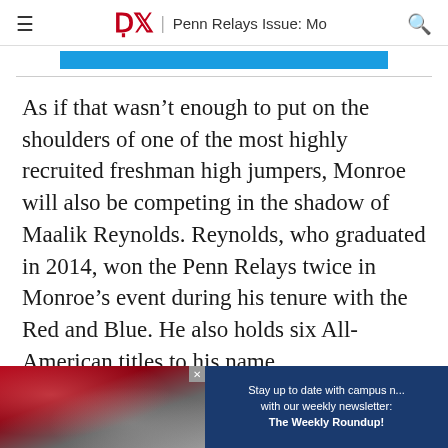DP | Penn Relays Issue: Mo
As if that wasn't enough to put on the shoulders of one of the most highly recruited freshman high jumpers, Monroe will also be competing in the shadow of Maalik Reynolds. Reynolds, who graduated in 2014, won the Penn Relays twice in Monroe's event during his tenure with the Red and Blue. He also holds six All-American titles to his name.
[Figure (photo): Advertisement banner at the bottom showing crowd of people in red shirts with a newsletter promotion overlay reading 'Stay up to date with campus n... with our weekly newsletter: The Weekly Roundup!']